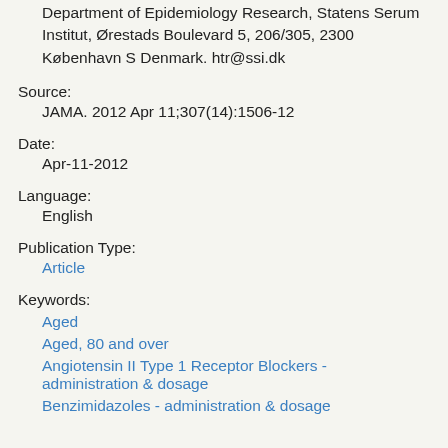Department of Epidemiology Research, Statens Serum Institut, Ørestads Boulevard 5, 206/305, 2300 København S Denmark. htr@ssi.dk
Source:
JAMA. 2012 Apr 11;307(14):1506-12
Date:
Apr-11-2012
Language:
English
Publication Type:
Article
Keywords:
Aged
Aged, 80 and over
Angiotensin II Type 1 Receptor Blockers - administration & dosage
Benzimidazoles - administration & dosage